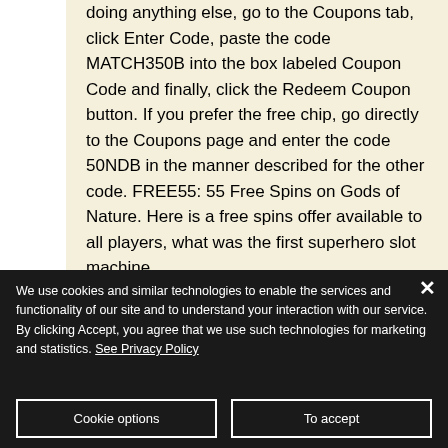doing anything else, go to the Coupons tab, click Enter Code, paste the code MATCH350B into the box labeled Coupon Code and finally, click the Redeem Coupon button. If you prefer the free chip, go directly to the Coupons page and enter the code 50NDB in the manner described for the other code. FREE55: 55 Free Spins on Gods of Nature. Here is a free spins offer available to all players, what was the first superhero slot machine.
Each Roku casino from my list can please
We use cookies and similar technologies to enable the services and functionality of our site and to understand your interaction with our service. By clicking Accept, you agree that we use such technologies for marketing and statistics. See Privacy Policy
Cookie options
To accept